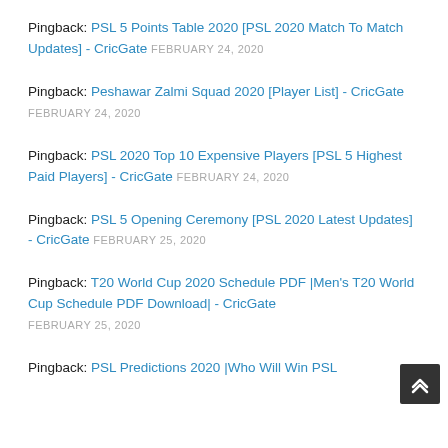Pingback: PSL 5 Points Table 2020 [PSL 2020 Match To Match Updates] - CricGate FEBRUARY 24, 2020
Pingback: Peshawar Zalmi Squad 2020 [Player List] - CricGate FEBRUARY 24, 2020
Pingback: PSL 2020 Top 10 Expensive Players [PSL 5 Highest Paid Players] - CricGate FEBRUARY 24, 2020
Pingback: PSL 5 Opening Ceremony [PSL 2020 Latest Updates] - CricGate FEBRUARY 25, 2020
Pingback: T20 World Cup 2020 Schedule PDF |Men's T20 World Cup Schedule PDF Download| - CricGate FEBRUARY 25, 2020
Pingback: PSL Predictions 2020 |Who Will Win PSL